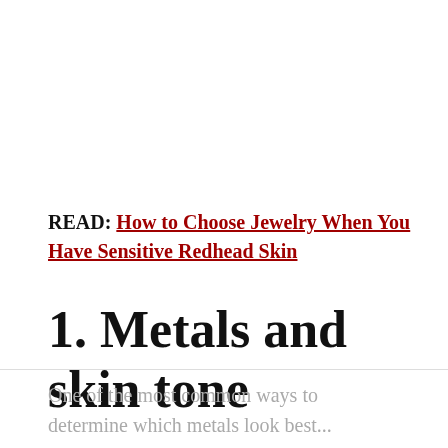READ: How to Choose Jewelry When You Have Sensitive Redhead Skin
1. Metals and skin tone
One of the most common ways to determine which metals look best...